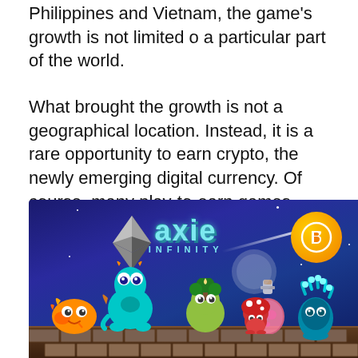Philippines and Vietnam, the game's growth is not limited o a particular part of the world.
What brought the growth is not a geographical location. Instead, it is a rare opportunity to earn crypto, the newly emerging digital currency. Of course, many play-to-earn games allow you to make Ethereum while sitting at the comfort of your home enjoying the pleasure of a video game. But, Axie Infinity is the pioneer.
[Figure (illustration): Axie Infinity game promotional image showing colorful cartoon characters (Axies) on a dark blue/purple night background with the Axie Infinity logo, Ethereum logo diamond, and an orange coin symbol. Various axie creatures including an orange blob, blue dragon, green axie, a potion bottle, red mushroom, and teal plant creature are shown on a cobblestone platform.]